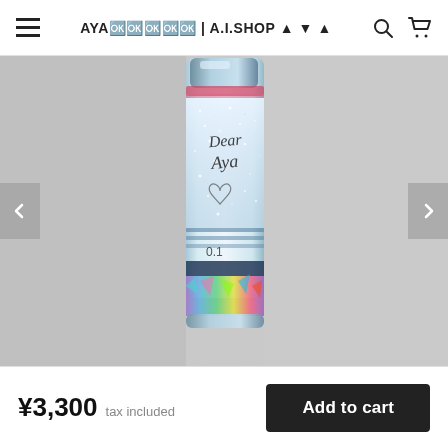AYA鷗上ｿｽｽ | A.I.SHOP ▲ ▼ ▲
[Figure (photo): Close-up photo of a glittery silver cosmetic product (appears to be a mascara or eyeliner tube) with cursive text reading 'Dear Aya' on its body, and holographic/iridescent foil at the base. The product is photographed against a light gray-white background.]
¥3,300  tax included
Add to cart